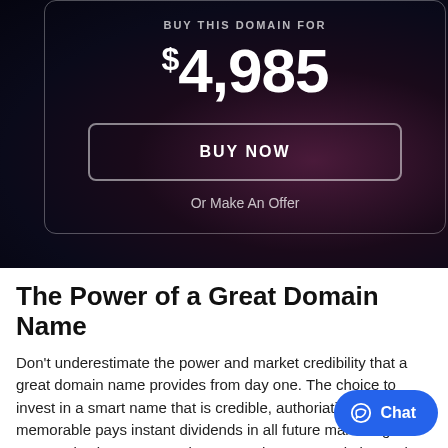BUY THIS DOMAIN FOR
$4,985
BUY NOW
Or Make An Offer
The Power of a Great Domain Name
Don't underestimate the power and market credibility that a great domain name provides from day one. The choice to invest in a smart name that is credible, authoriative, and highly memorable pays instant dividends in all future marketing and communications. Your project name that can maximize and compound value, as well as the sharper the name and the better its memory…